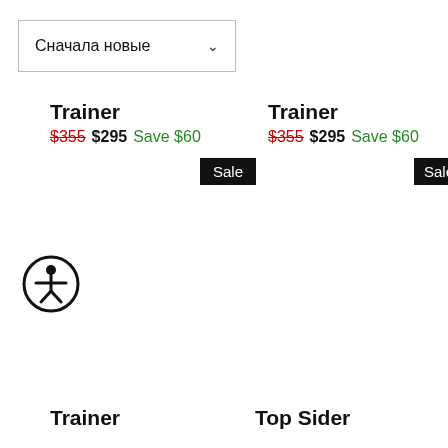Сначала новые
Trainer $355 $295 Save $60
Sale
Trainer $355 $295 Save $60
Sale
[Figure (illustration): Accessibility icon: circle with human figure inside]
Trainer
Top Sider